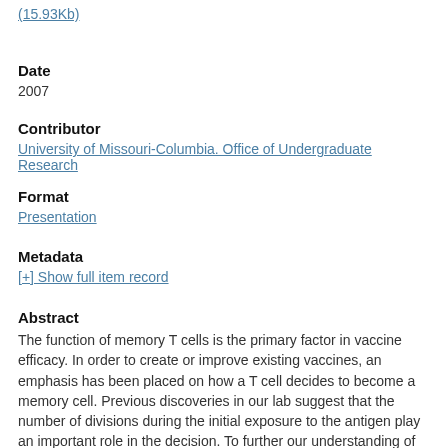(15.93Kb)
Date
2007
Contributor
University of Missouri-Columbia. Office of Undergraduate Research
Format
Presentation
Metadata
[+] Show full item record
Abstract
The function of memory T cells is the primary factor in vaccine efficacy. In order to create or improve existing vaccines, an emphasis has been placed on how a T cell decides to become a memory cell. Previous discoveries in our lab suggest that the number of divisions during the initial exposure to the antigen play an important role in the decision. To further our understanding of